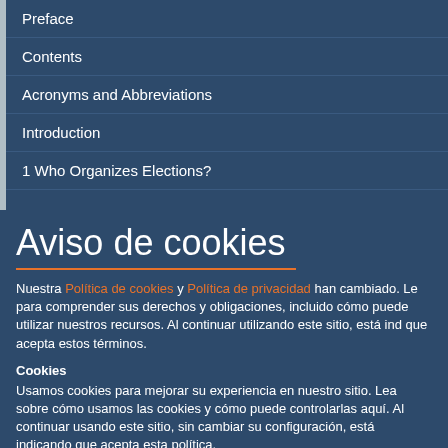Preface
Contents
Acronyms and Abbreviations
Introduction
1  Who Organizes Elections?
Aviso de cookies
Nuestra Política de cookies y Política de privacidad han cambiado. Le para comprender sus derechos y obligaciones, incluido cómo puede utilizar nuestros recursos. Al continuar utilizando este sitio, está ind que acepta estos términos.
Cookies
Usamos cookies para mejorar su experiencia en nuestro sitio. Lea sobre cómo usamos las cookies y cómo puede controlarlas aquí. Al continuar usando este sitio, sin cambiar su configuración, está indicando que acepta esta política.